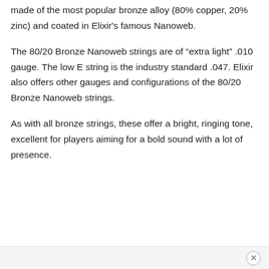made of the most popular bronze alloy (80% copper, 20% zinc) and coated in Elixir's famous Nanoweb.
The 80/20 Bronze Nanoweb strings are of “extra light” .010 gauge. The low E string is the industry standard .047. Elixir also offers other gauges and configurations of the 80/20 Bronze Nanoweb strings.
As with all bronze strings, these offer a bright, ringing tone, excellent for players aiming for a bold sound with a lot of presence.
×